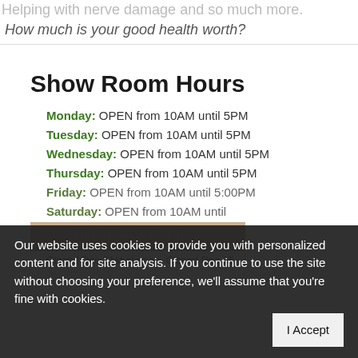Helping with nerve damage and so much more.
How much is your good health worth?
Show Room Hours
Monday: OPEN from 10AM until 5PM
Tuesday: OPEN from 10AM until 5PM
Wednesday: OPEN from 10AM until 5PM
Thursday: OPEN from 10AM until 5PM
Friday: OPEN from 10AM until 5:00PM
Saturday: OPEN from 10AM until [partially hidden]
Our website uses cookies to provide you with personalized content and for site analysis. If you continue to use the site without choosing your preference, we'll assume that you're fine with cookies.
I Accept
Get Prices & Brochure
Closed Dec 21st at noon. Closed Dec 25 -